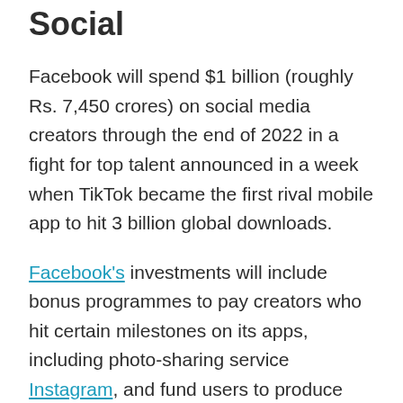Social
Facebook will spend $1 billion (roughly Rs. 7,450 crores) on social media creators through the end of 2022 in a fight for top talent announced in a week when TikTok became the first rival mobile app to hit 3 billion global downloads.
Facebook's investments will include bonus programmes to pay creators who hit certain milestones on its apps, including photo-sharing service Instagram, and fund users to produce content, the company said.
Facebook CEO Mark Zuckerberg also shared the news on his personal feed on the social media platform. He wrote, “We want to build the best platforms for millions of creators to make a living, so we’re creating new programs to invest over $1 billion (roughly Rs. 7,450 crores) to reward creators for great content they create on Facebook